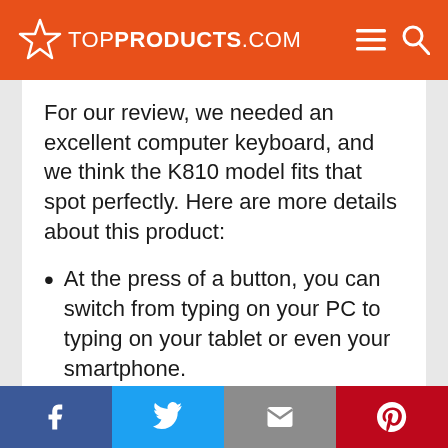TOPPRODUCTS.COM
For our review, we needed an excellent computer keyboard, and we think the K810 model fits that spot perfectly. Here are more details about this product:
At the press of a button, you can switch from typing on your PC to typing on your tablet or even your smartphone.
The backlit keys are helpful when typing in the dark. The incorporated
Facebook | Twitter | Email | Pinterest